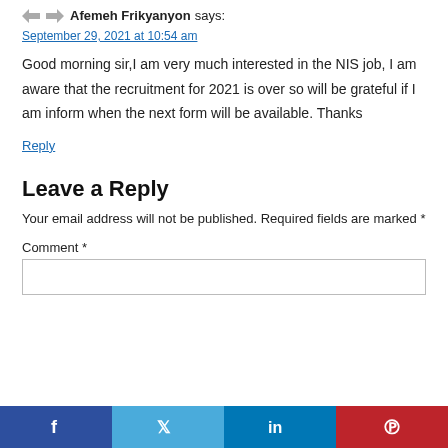Afemeh Frikyanyon says:
September 29, 2021 at 10:54 am
Good morning sir,I am very much interested in the NIS job, I am aware that the recruitment for 2021 is over so will be grateful if I am inform when the next form will be available. Thanks
Reply
Leave a Reply
Your email address will not be published. Required fields are marked *
Comment *